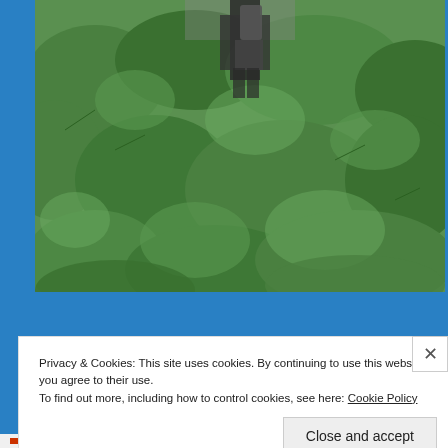[Figure (photo): A person standing in dense green shrubbery/vegetation outdoors, wearing dark clothing and carrying a backpack or equipment. The shrubs are leafy and green, filling most of the frame.]
Privacy & Cookies: This site uses cookies. By continuing to use this website, you agree to their use.
To find out more, including how to control cookies, see here: Cookie Policy
Close and accept